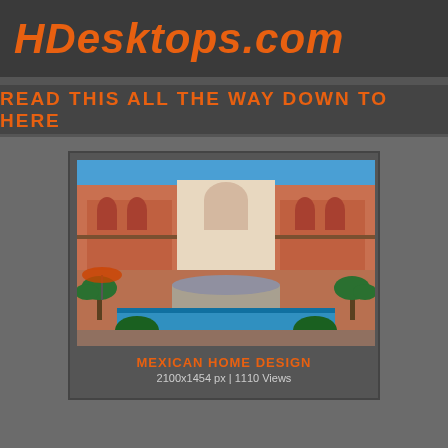HDesktops.com
READ THIS ALL THE WAY DOWN TO HERE
[Figure (photo): Mexican home design — a large pink/terracotta resort-style building with arched balconies, a central fountain, blue tiled pool, and palm trees under a blue sky.]
MEXICAN HOME DESIGN
2100x1454 px | 1110 Views